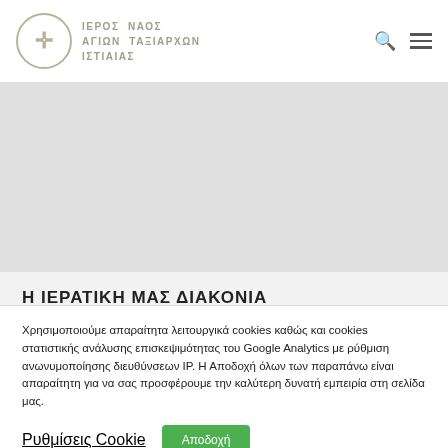ΙΕΡΟΣ ΝΑΟΣ ΑΓΙΩΝ ΤΑΞΙΑΡΧΩΝ ΙΣΤΙΑΙΑΣ
[Figure (photo): Gray banner/hero image area]
Η ΙΕΡΑΤΙΚΗ ΜΑΣ ΔΙΑΚΟΝΙΑ
Χρησιμοποιούμε απαραίτητα λειτουργικά cookies καθώς και cookies στατιστικής ανάλυσης επισκεψιμότητας του Google Analytics με ρύθμιση ανωνυμοποίησης διευθύνσεων IP. Η Αποδοχή όλων των παραπάνω είναι απαραίτητη για να σας προσφέρουμε την καλύτερη δυνατή εμπειρία στη σελίδα μας.
Ρυθμίσεις Cookie
Αποδοχή